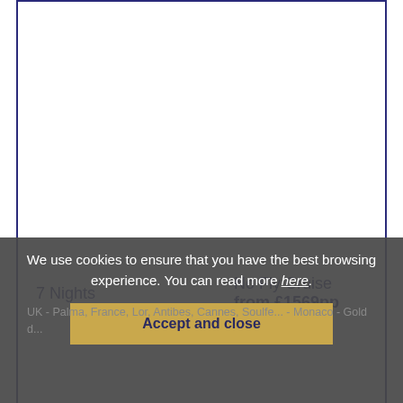7 Nights   No Fly Cruise from £1569pp
UK - Palma, France, Lor, Antibes, Cannes, Soulfe... - Monaco - Gold d...
We use cookies to ensure that you have the best browsing experience. You can read more here.
Accept and close